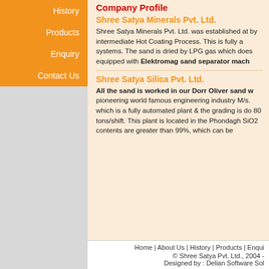History
Products
Enquiry
Contact Us
Company Profile
Shree Satya Minerals Pvt. Ltd.
Shree Satya Minerals Pvt. Ltd. was established at by intermediate Hot Coating Process. This is fully a systems. The sand is dried by LPG gas which does equipped with Elektromag sand separator mach
Shree Satya Silica Pvt. Ltd.
All the sand is worked in our Dorr Oliver sand w pioneering world famous engineering industry M/s. which is a fully automated plant & the grading is do 80 tons/shift. This plant is located in the Phondagh SiO2 contents are greater than 99%, which can be
Home | About Us | History | Products | Enqui © Shree Satya Pvt. Ltd., 2004 - Designed by : Delian Software Sol